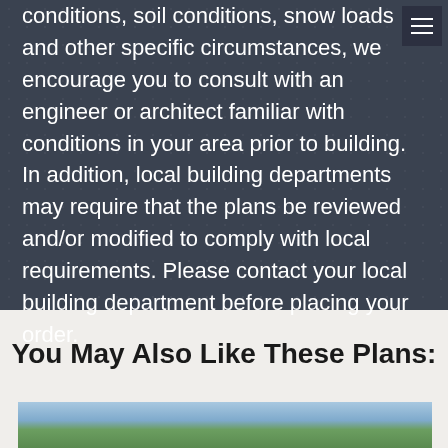conditions, soil conditions, snow loads and other specific circumstances, we encourage you to consult with an engineer or architect familiar with conditions in your area prior to building. In addition, local building departments may require that the plans be reviewed and/or modified to comply with local requirements. Please contact your local building department before placing your order.
You May Also Like These Plans:
[Figure (photo): Partial photo of a building or home exterior with trees visible, shown at the bottom of the page]